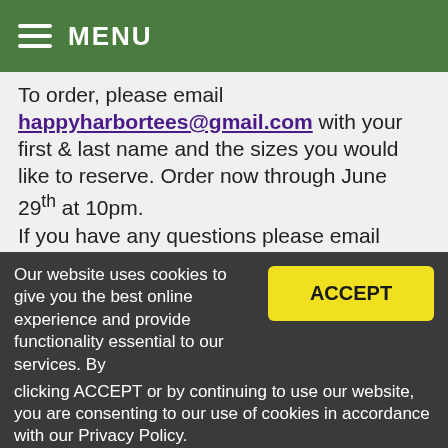MENU
To order, please email happyharbortees@gmail.com with your first & last name and the sizes you would like to reserve. Order now through June 29th at 10pm.
If you have any questions please email happyharbortees@gmail.com or call/text me at 608-425-9858.
Thanks for supporting this great market, local artists and food producers! I can't wait
Our website uses cookies to give you the best online experience and provide functionality essential to our services. By clicking ACCEPT or by continuing to use our website, you are consenting to our use of cookies in accordance with our Privacy Policy.
VIEW PRIVACY POLICY